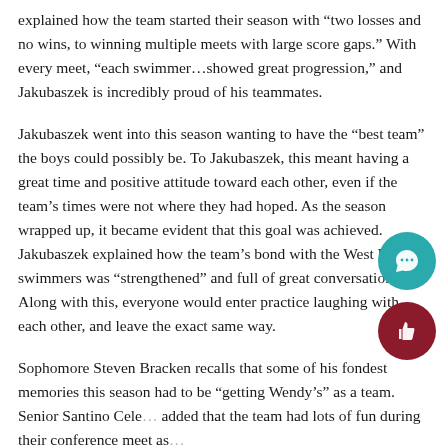explained how the team started their season with “two losses and no wins, to winning multiple meets with large score gaps.” With every meet, “each swimmer…showed great progression,” and Jakubaszek is incredibly proud of his teammates.
Jakubaszek went into this season wanting to have the “best team” the boys could possibly be. To Jakubaszek, this meant having a great time and positive attitude toward each other, even if the team’s times were not where they had hoped. As the season wrapped up, it became evident that this goal was achieved.  Jakubaszek explained how the team’s bond with the West Milford swimmers was “strengthened” and full of great conversations. Along with this, everyone would enter practice laughing with each other, and leave the exact same way.
Sophomore Steven Bracken recalls that some of his fondest memories this season had to be “getting Wendy’s” as a team. Senior Santino Cele… added that the team had lots of fun during their conference meet as…
The boys have lots of goals for the future. Both Jakubaszek and Ce… agree that qualifying for states is the ultimate goal, as they would b… the first boys swim team in LBHS history to do so. The b…